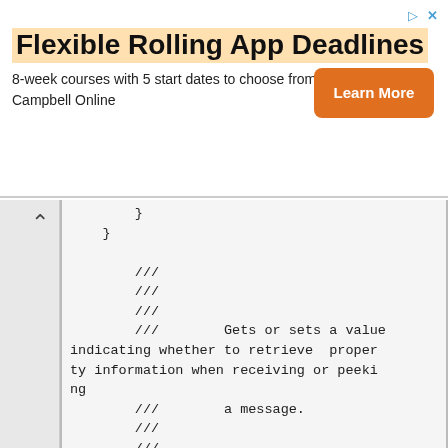[Figure (screenshot): Advertisement banner for Campbell Online: 'Flexible Rolling App Deadlines' with 'Learn More' button]
{ } } /// /// /// /// Gets or sets a value indicating whether to retrieve property information when receiving or peeking /// a message. /// /// [DefaultValueAttribute(false), MessagingDescription(Res.MsgConnectorType)] public bool ConnectorType{ get{ return((data2 & CONNEC